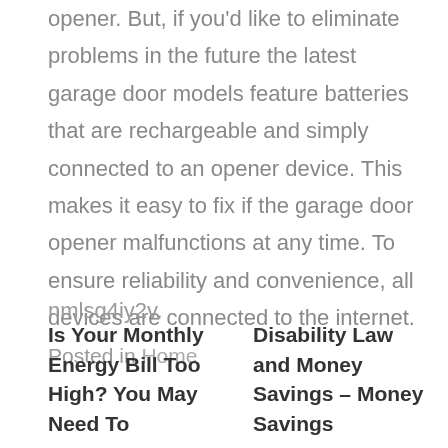opener. But, if you'd like to eliminate problems in the future the latest garage door models feature batteries that are rechargeable and simply connected to an opener device. This makes it easy to fix if the garage door opener malfunctions at any time. To ensure reliability and convenience, all devices are connected to the internet.
nmlsg4iy2v.
Posted in Home
Is Your Monthly Energy Bill Too High? You May Need To
Disability Law and Money Savings – Money Savings